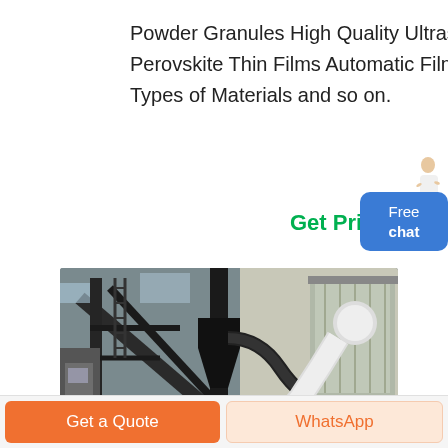Powder Granules High Quality Ultrasonic Spray Pyrolysis Coater for Preparing Perovskite Thin Films Automatic Film Coater Produce a Smooth Coating on All Types of Materials and so on.
Get Price
[Figure (photo): Industrial powder granules spray pyrolysis coating equipment in a factory setting, showing large machinery with conveyors, pipes, hoppers and structural steel framework.]
Get a Quote
WhatsApp